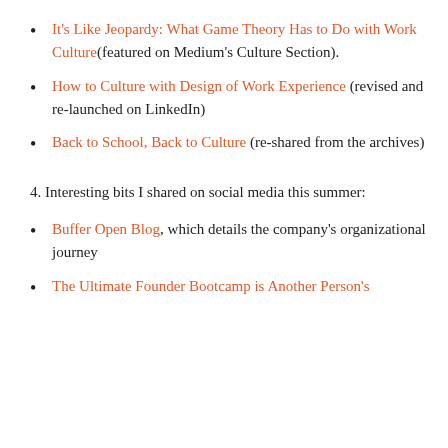It's Like Jeopardy: What Game Theory Has to Do with Work Culture(featured on Medium's Culture Section).
How to Culture with Design of Work Experience (revised and re-launched on LinkedIn)
Back to School, Back to Culture (re-shared from the archives)
4. Interesting bits I shared on social media this summer:
Buffer Open Blog, which details the company's organizational journey
The Ultimate Founder Bootcamp is Another Person's